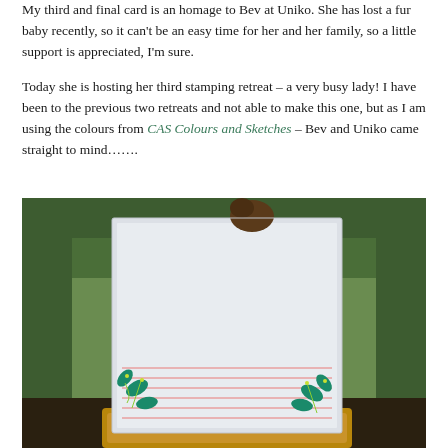My third and final card is an homage to Bev at Uniko. She has lost a fur baby recently, so it can't be an easy time for her and her family, so a little support is appreciated, I'm sure.
Today she is hosting her third stamping retreat – a very busy lady! I have been to the previous two retreats and not able to make this one, but as I am using the colours from CAS Colours and Sketches – Bev and Uniko came straight to mind…….
[Figure (photo): A handmade card photographed outdoors on a wicker basket. The card is light grey/white with teal botanical leaf stamps in the lower left and right corners, and pink horizontal lines across the lower portion. Green garden foliage is visible in the background.]